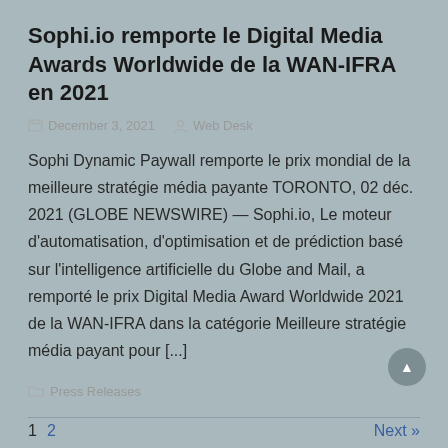Sophi.io remporte le Digital Media Awards Worldwide de la WAN-IFRA en 2021
December 3, 2021   Web Desk
Sophi Dynamic Paywall remporte le prix mondial de la meilleure stratégie média payante TORONTO, 02 déc. 2021 (GLOBE NEWSWIRE) — Sophi.io, Le moteur d'automatisation, d'optimisation et de prédiction basé sur l'intelligence artificielle du Globe and Mail, a remporté le prix Digital Media Award Worldwide 2021 de la WAN-IFRA dans la catégorie Meilleure stratégie média payant pour [...]
Press Releases
1  2   Next »